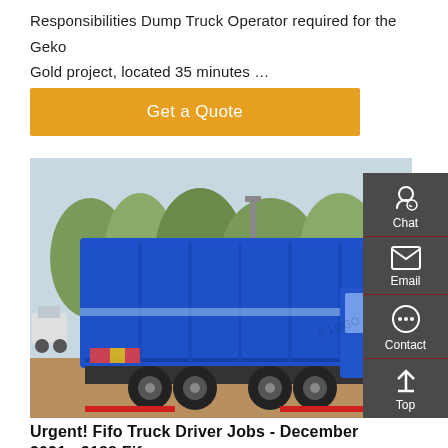Responsibilities Dump Truck Operator required for the Geko Gold project, located 35 minutes …
[Figure (other): An orange/yellow 'Get a Quote' button]
[Figure (photo): A large blue dump truck (heavy-duty tipper) photographed outdoors with trees in the background. The truck has multiple axles and a large blue tipper body with reflective chevron markings.]
Urgent! Fifo Truck Driver Jobs - December 2021 - 9188 Fifo